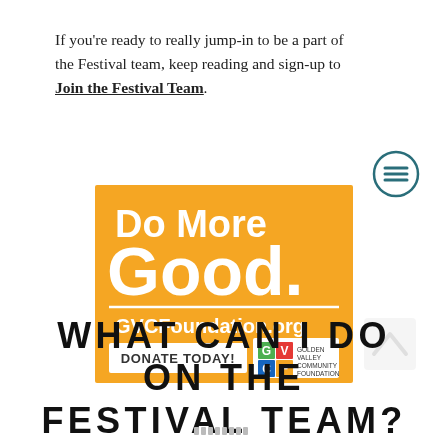If you're ready to really jump-in to be a part of the Festival team, keep reading and sign-up to Join the Festival Team.
[Figure (infographic): Orange/yellow advertisement banner for GVC Foundation reading 'Do More Good. GVCFoundation.org DONATE TODAY!' with the GVCF logo.]
WHAT CAN I DO ON THE FESTIVAL TEAM?